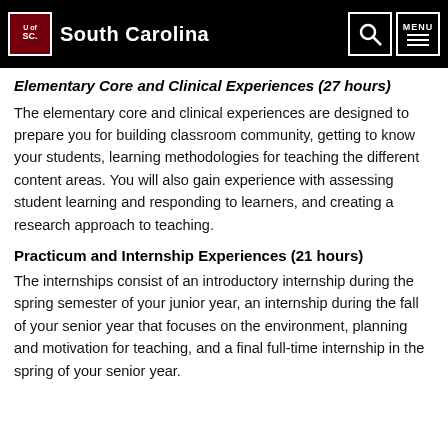University of South Carolina
Elementary Core and Clinical Experiences (27 hours)
The elementary core and clinical experiences are designed to prepare you for building classroom community, getting to know your students, learning methodologies for teaching the different content areas. You will also gain experience with assessing student learning and responding to learners, and creating a research approach to teaching.
Practicum and Internship Experiences (21 hours)
The internships consist of an introductory internship during the spring semester of your junior year, an internship during the fall of your senior year that focuses on the environment, planning and motivation for teaching, and a final full-time internship in the spring of your senior year.